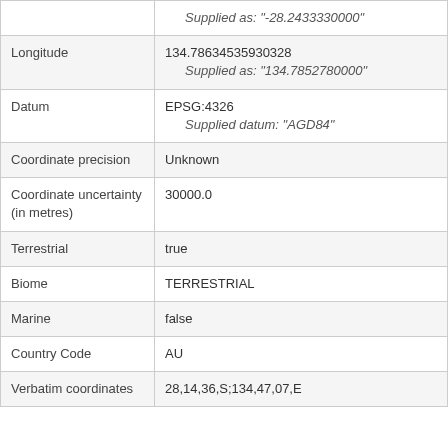| Field | Value |
| --- | --- |
|  | Supplied as: "-28.2433330000" |
| Longitude | 134.78634535930328
    Supplied as: "134.7852780000" |
| Datum | EPSG:4326
    Supplied datum: "AGD84" |
| Coordinate precision | Unknown |
| Coordinate uncertainty (in metres) | 30000.0 |
| Terrestrial | true |
| Biome | TERRESTRIAL |
| Marine | false |
| Country Code | AU |
| Verbatim coordinates | 28,14,36,S;134,47,07,E |